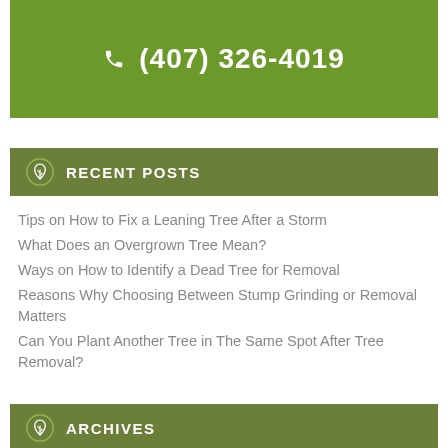(407) 326-4019
RECENT POSTS
Tips on How to Fix a Leaning Tree After a Storm
What Does an Overgrown Tree Mean?
Ways on How to Identify a Dead Tree for Removal
Reasons Why Choosing Between Stump Grinding or Removal Matters
Can You Plant Another Tree in The Same Spot After Tree Removal?
ARCHIVES